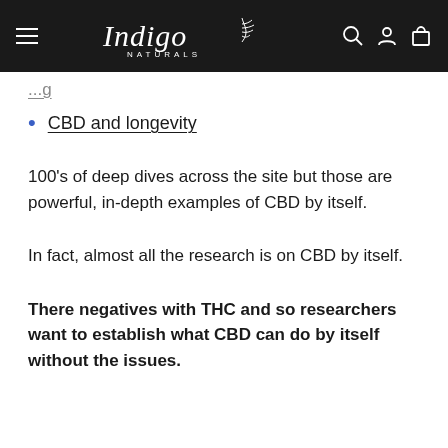Indigo Naturals
CBD and longevity
100's of deep dives across the site but those are powerful, in-depth examples of CBD by itself.
In fact, almost all the research is on CBD by itself.
There negatives with THC and so researchers want to establish what CBD can do by itself without the issues.